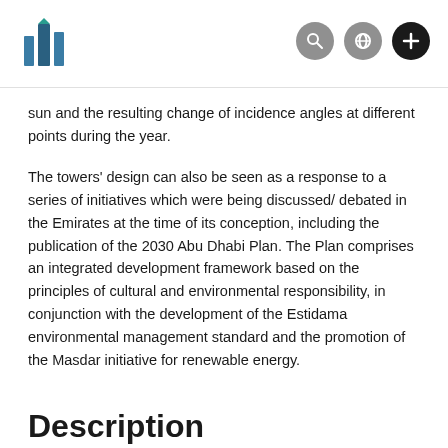[Logo and navigation icons: search, language, plus]
sun and the resulting change of incidence angles at different points during the year.
The towers' design can also be seen as a response to a series of initiatives which were being discussed/ debated in the Emirates at the time of its conception, including the publication of the 2030 Abu Dhabi Plan. The Plan comprises an integrated development framework based on the principles of cultural and environmental responsibility, in conjunction with the development of the Estidama environmental management standard and the promotion of the Masdar initiative for renewable energy.
Description
Screens